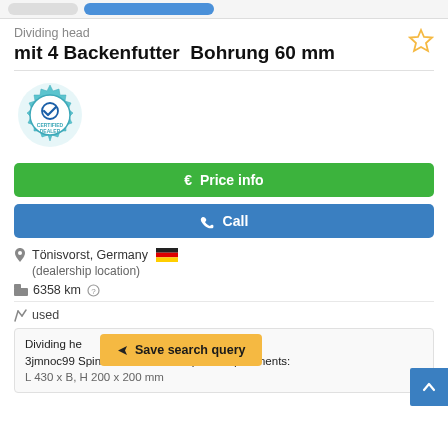Dividing head
mit 4 Backenfutter  Bohrung 60 mm
[Figure (illustration): Certified Dealer badge — teal gear icon with checkmark and text CERTIFIED DEALER]
€  Price info
✆  Call
Tönisvorst, Germany 🇩🇪
(dealership location)
🚩 6358 km ?
🔧 used
Dividing head ... chuck 3jmnoc99 Spindle bore 60 mm Space requirements:
L 430 x B, H 200 x 200 mm
[Figure (screenshot): Save search query button overlay in amber/orange color]